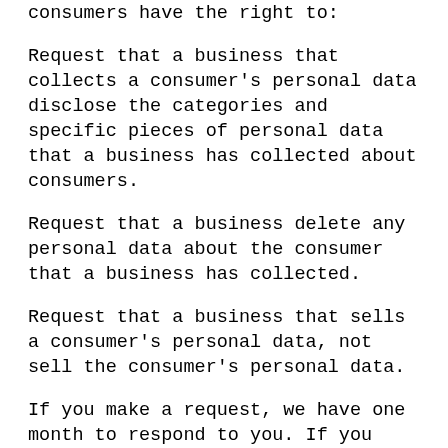consumers have the right to:
Request that a business that collects a consumer's personal data disclose the categories and specific pieces of personal data that a business has collected about consumers.
Request that a business delete any personal data about the consumer that a business has collected.
Request that a business that sells a consumer's personal data, not sell the consumer's personal data.
If you make a request, we have one month to respond to you. If you would like to exercise any of these rights, please contact us.